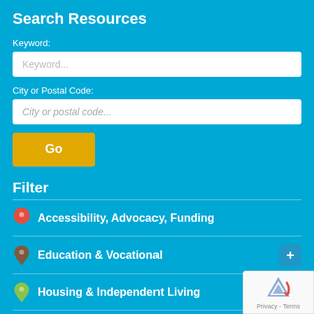Search Resources
Keyword:
Keyword...
City or Postal Code:
City or postal code...
Go
Filter
Accessibility, Advocacy, Funding
Education & Vocational
Housing & Independent Living
Mental Health & Specialized Services